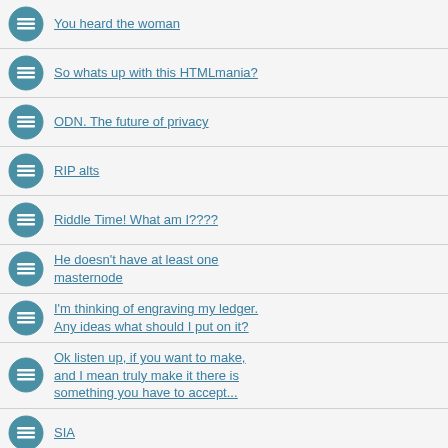You heard the woman
So whats up with this HTMLmania?
ODN. The future of privacy
RIP alts
Riddle Time! What am I????
He doesn't have at least one masternode
I'm thinking of engraving my ledger. Any ideas what should I put on it?
Ok listen up, if you want to make, and I mean truly make it there is something you have to accept...
SIA
REQ $2.50 Prediction